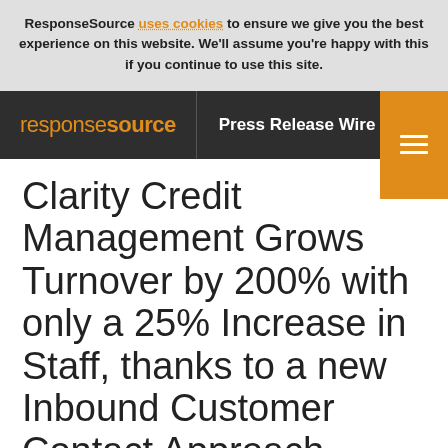ResponseSource uses cookies to ensure we give you the best experience on this website. We'll assume you're happy with this if you continue to use this site.
responsesource | Press Release Wire
Clarity Credit Management Grows Turnover by 200% with only a 25% Increase in Staff, thanks to a new Inbound Customer Contact Approach Powered by